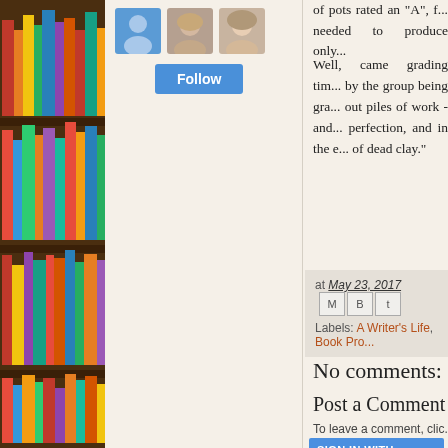[Figure (photo): Bookshelf with colorful books on the left sidebar]
[Figure (illustration): Three user avatars in a row — a blue silhouette, a woman, and another person]
Follow
of pots rated an "A", f... needed to produce only...
Well, came grading time... by the group being gra... out piles of work - and... perfection, and in the e... of dead clay."
at May 23, 2017
Labels: A Writer's Life, Book Pro...
No comments:
Post a Comment
To leave a comment, clic...
SIGN IN WITH GOOGLE